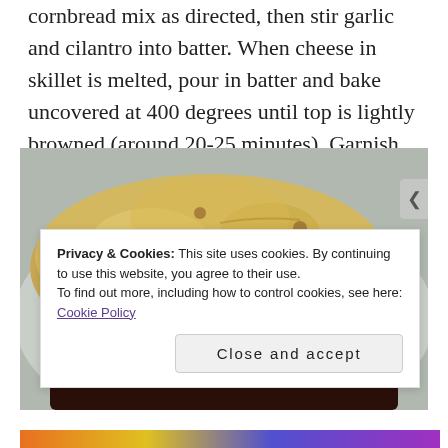cornbread mix as directed, then stir garlic and cilantro into batter. When cheese in skillet is melted, pour in batter and bake uncovered at 400 degrees until top is lightly browned (around 20-25 minutes). Garnish with sour cream, if desired.
[Figure (photo): A serving of cornbread skillet dish on a plate, showing a golden-brown cornbread top with a dark meat filling underneath, presented on a light-colored plate.]
Privacy & Cookies: This site uses cookies. By continuing to use this website, you agree to their use.
To find out more, including how to control cookies, see here: Cookie Policy
Close and accept